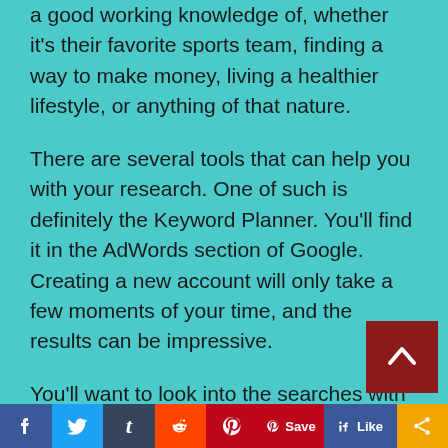a good working knowledge of, whether it's their favorite sports team, finding a way to make money, living a healthier lifestyle, or anything of that nature.
There are several tools that can help you with your research. One of such is definitely the Keyword Planner. You'll find it in the AdWords section of Google. Creating a new account will only take a few moments of your time, and the results can be impressive.
You'll want to look into the searches with the highest volume where the competition isn't too strong. This quest may take a while, but trust me, once you see your opportunity, you'll